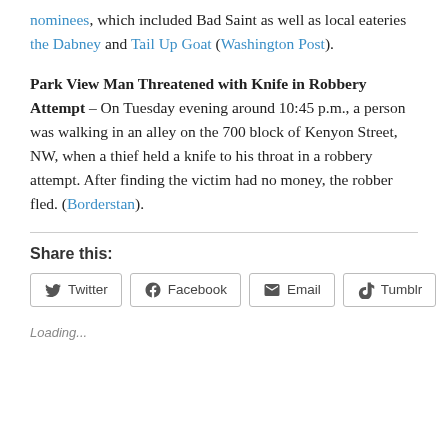nominees, which included Bad Saint as well as local eateries the Dabney and Tail Up Goat (Washington Post).
Park View Man Threatened with Knife in Robbery Attempt – On Tuesday evening around 10:45 p.m., a person was walking in an alley on the 700 block of Kenyon Street, NW, when a thief held a knife to his throat in a robbery attempt. After finding the victim had no money, the robber fled. (Borderstan).
Share this:
Twitter  Facebook  Email  Tumblr
Loading...